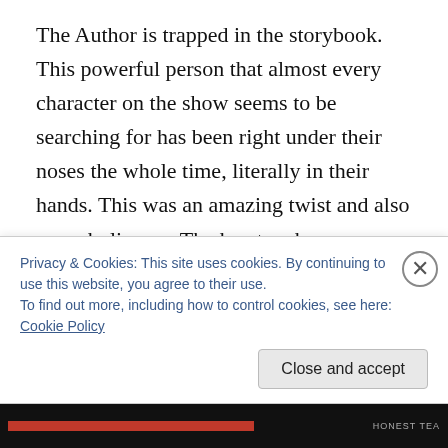The Author is trapped in the storybook. This powerful person that almost every character on the show seems to be searching for has been right under their noses the whole time, literally in their hands. This was an amazing twist and also a symbolic one. The key to a happy ending is often closer than you think it is; it's often right under your nose, but sometimes you need help to see that. And people will only help you see it and find it if you act in a way that shows you're deserving of it. The villains keep trying to get closer to their happy endings via force, but if August's ability to keep information from them even in the
Privacy & Cookies: This site uses cookies. By continuing to use this website, you agree to their use.
To find out more, including how to control cookies, see here: Cookie Policy
Close and accept